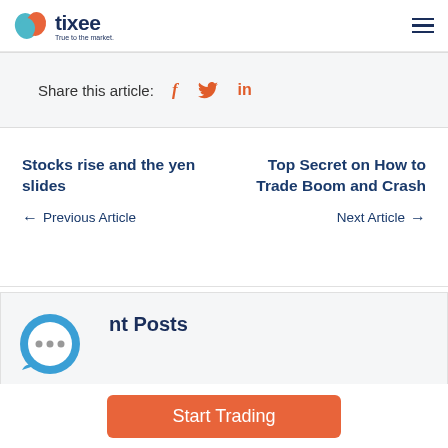[Figure (logo): Tixee logo with orange and blue bird icon and tagline 'True to the market.']
Share this article:  f  (twitter bird)  in
Stocks rise and the yen slides
← Previous Article
Top Secret on How to Trade Boom and Crash
Next Article →
Recent Posts
Start Trading